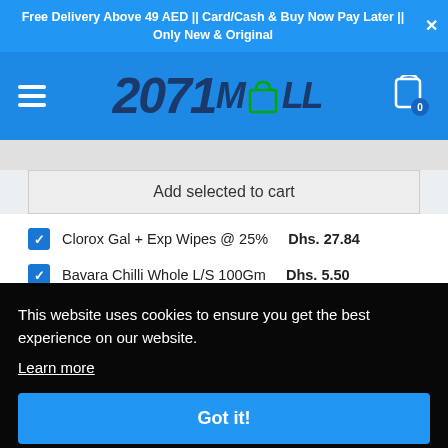Free Delivery Above 49 AED || Card/Cash & Buy Now Pay Later || Only New & Original
[Figure (screenshot): 2071MALL e-commerce website navigation bar with hamburger menu, logo, and cart icon showing 0 items]
Add selected to cart
Clorox Gal + Exp Wipes @ 25%  Dhs. 27.84
Bavara Chilli Whole L/S 100Gm  Dhs. 5.50
This website uses cookies to ensure you get the best experience on our website.
Learn more
Got it!